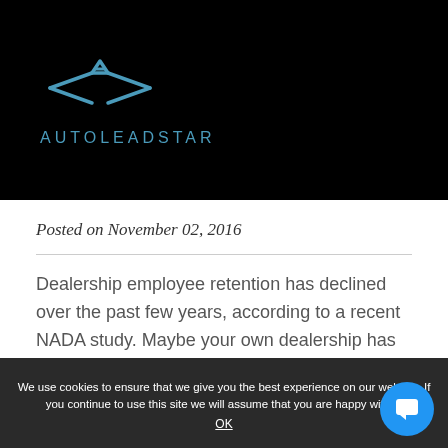[Figure (logo): AutoLeadStar logo with blue star/arrow icon and text AUTOLEADSTAR on black background]
Posted on November 02, 2016
Dealership employee retention has declined over the past few years, according to a recent NADA study. Maybe your own dealership has suffered, maybe your employees are so happy they break ...
We use cookies to ensure that we give you the best experience on our website. If you continue to use this site we will assume that you are happy with it. OK